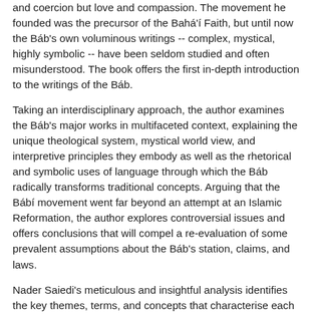and coercion but love and compassion. The movement he founded was the precursor of the Bahá'í Faith, but until now the Báb's own voluminous writings -- complex, mystical, highly symbolic -- have been seldom studied and often misunderstood. The book offers the first in-depth introduction to the writings of the Báb.
Taking an interdisciplinary approach, the author examines the Báb's major works in multifaceted context, explaining the unique theological system, mystical world view, and interpretive principles they embody as well as the rhetorical and symbolic uses of language through which the Báb radically transforms traditional concepts. Arguing that the Bábí movement went far beyond an attempt at an Islamic Reformation, the author explores controversial issues and offers conclusions that will compel a re-evaluation of some prevalent assumptions about the Báb's station, claims, and laws.
Nader Saiedi's meticulous and insightful analysis identifies the key themes, terms, and concepts that characterise each stage of the Báb's writings, unlocking the code of the Báb's mystical lexicon. Gate of the